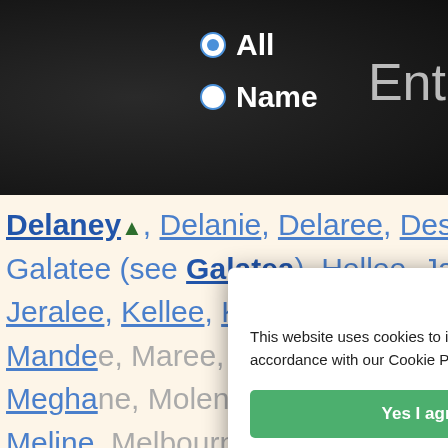[Figure (screenshot): Dark navigation header with radio buttons for 'All' and 'Name' search options, and an entry text box partially visible on right]
Delaney▲, Delanie, Delaree, Desaree, Galatee (see Galatea), Hellee, Janee, Jeralee, Kellee, Kelsee, Kenadee, Mac, Mandee, Maree, Marlane, Marnee, Me, Megha, Molene, Melesande, Melin, Meline, Melbournie, Me, Mensse, Melvine, Melysande, Merane, Merli, Mollee, Mylene, Nalanee, Penee, Penn, Selbee, Shanee, Talanee and Tanee, T, commonly used than Melanee.
We use cookies
This website uses cookies to improve user experience. By using our website you consent to all cookies in accordance with our Cookie Policy.
Yes I agree    I disagree
Read more
Free cookie consent by cookie-script.com